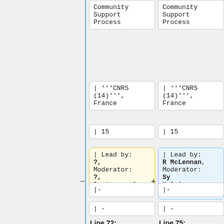Community Support Process
Community Support Process
| '''CNRS (14)''', France
| '''CNRS (14)''', France
| 15
| 15
| Lead by: ?, Moderator: ?, Reviewer: ?
| Lead by: R McLennan, Moderator: Sy Holsinger, Reviewer: ?
|-
|-
| -
| -
Line 72:
Line 75:
| '''Lead
| '''Lead